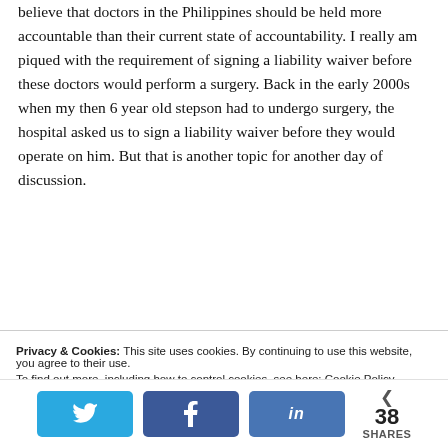believe that doctors in the Philippines should be held more accountable than their current state of accountability. I really am piqued with the requirement of signing a liability waiver before these doctors would perform a surgery. Back in the early 2000s when my then 6 year old stepson had to undergo surgery, the hospital asked us to sign a liability waiver before they would operate on him. But that is another topic for another day of discussion.
Privacy & Cookies: This site uses cookies. By continuing to use this website, you agree to their use. To find out more, including how to control cookies, see here: Cookie Policy
38 SHARES (Twitter, Facebook, LinkedIn share buttons)